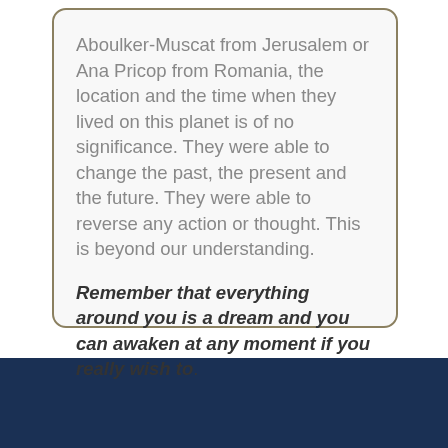Aboulker-Muscat from Jerusalem or Ana Pricop from Romania, the location and the time when they lived on this planet is of no significance. They were able to change the past, the present and the future. They were able to reverse any action or thought. This is beyond our understanding.
Remember that everything around you is a dream and you can awaken at any moment if you really wish to.